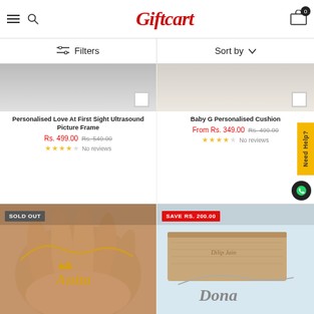Giftcart — menu, search, cart (0)
Filters   Sort by
Personalised Love At First Sight Ultrasound Picture Frame
Rs. 499.00  Rs. 549.00
No reviews
Baby G Personalised Cushion
From Rs. 349.00  Rs. 499.00
No reviews
[Figure (photo): Hand holding a gold name necklace spelling 'Anita' with crown, SOLD OUT badge]
[Figure (photo): Name necklace 'Dona' on wooden box labeled 'Dilip Jain', SAVE RS. 200.00 badge]